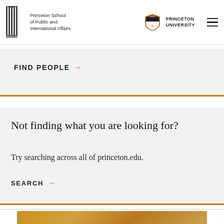[Figure (logo): Princeton School of Public and International Affairs logo with columns, and Princeton University shield logo on the right, plus hamburger menu icon]
FIND PEOPLE →
Not finding what you are looking for?
Try searching across all of princeton.edu.
SEARCH →
[Figure (photo): Partial view of a person in orange/sepia tones at the bottom of the page]